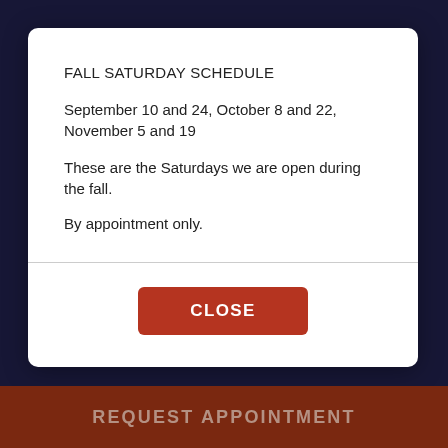FALL SATURDAY SCHEDULE
September 10 and 24, October 8 and 22, November 5 and 19
These are the Saturdays we are open during the fall.
By appointment only.
[Figure (map): Street map showing W Nob Hill Blvd and S 40th area with Home2 Su Hilton Yakima label visible]
REQUEST APPOINTMENT